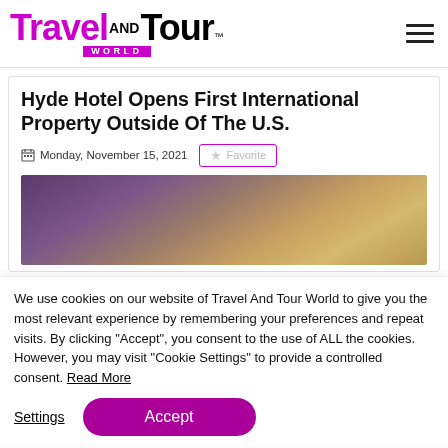[Figure (logo): Travel AND Tour World logo with purple 'Travel' text, black 'Tour' text, and purple 'WORLD' banner below]
Hyde Hotel Opens First International Property Outside Of The U.S.
Monday, November 15, 2021
[Figure (photo): Hotel interior or architectural detail with warm golden and purple tones]
We use cookies on our website of Travel And Tour World to give you the most relevant experience by remembering your preferences and repeat visits. By clicking "Accept", you consent to the use of ALL the cookies. However, you may visit "Cookie Settings" to provide a controlled consent. Read More
Settings
Accept